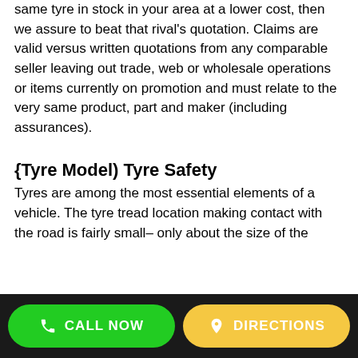same tyre in stock in your area at a lower cost, then we assure to beat that rival's quotation. Claims are valid versus written quotations from any comparable seller leaving out trade, web or wholesale operations or items currently on promotion and must relate to the very same product, part and maker (including assurances).
{Tyre Model) Tyre Safety
Tyres are among the most essential elements of a vehicle. The tyre tread location making contact with the road is fairly small– only about the size of the
CALL NOW   DIRECTIONS